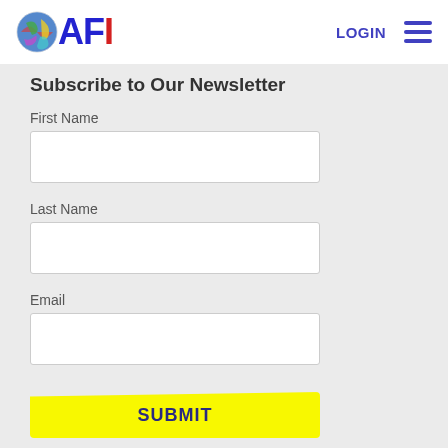[Figure (logo): AFI logo with globe icon, blue letters A and F, red letter I]
Subscribe to Our Newsletter
First Name
Last Name
Email
SUBMIT